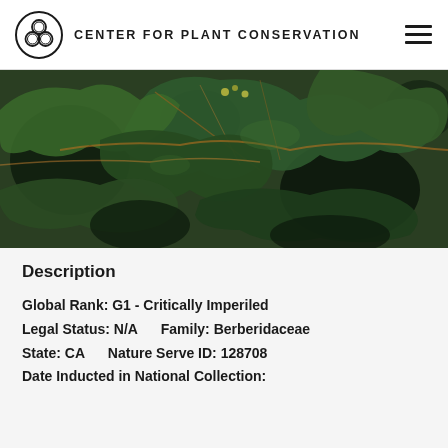CENTER FOR PLANT CONSERVATION
[Figure (photo): Close-up photograph of dark green lobed leaves with golden-brown edges and stems, likely a Berberis or Mahonia species plant.]
Description
Global Rank: G1 - Critically Imperiled
Legal Status: N/A      Family: Berberidaceae
State: CA      Nature Serve ID: 128708
Date Inducted in National Collection: